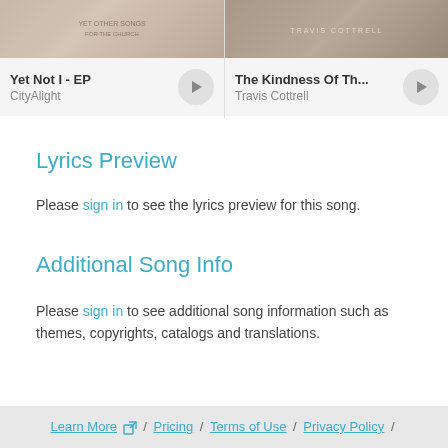[Figure (screenshot): Two album cards side by side: 'Yet Not I - EP' by CityAlight with play button, and 'The Kindness Of Th...' by Travis Cottrell with play button]
Lyrics Preview
Please sign in to see the lyrics preview for this song.
Additional Song Info
Please sign in to see additional song information such as themes, copyrights, catalogs and translations.
Learn More  / Pricing / Terms of Use / Privacy Policy /